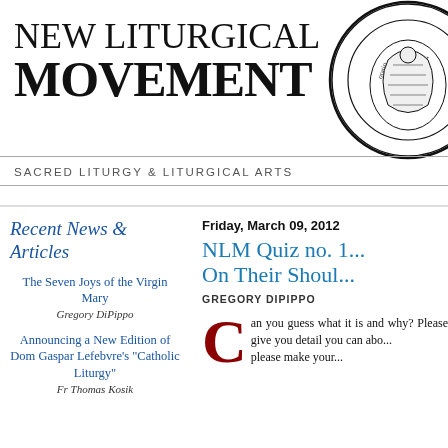NEW LITURGICAL MOVEMENT
SACRED LITURGY & LITURGICAL ARTS
[Figure (logo): Circular ecclesiastical seal/logo with Latin text around the border and decorative religious imagery in the center]
Recent News & Articles
The Seven Joys of the Virgin Mary
Gregory DiPippo
Announcing a New Edition of Dom Gaspar Lefebvre's "Catholic Liturgy"
Fr Thomas Kosik
Friday, March 09, 2012
NLM Quiz no. 1... On Their Shoul...
GREGORY DIPIPPO
Can you guess what it is and why? Please give you detail you can abo... please make your...